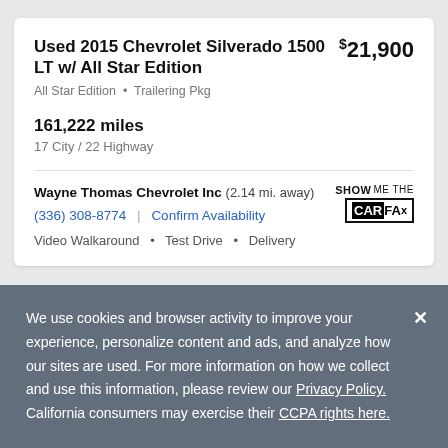Used 2015 Chevrolet Silverado 1500 LT w/ All Star Edition
$21,900
All Star Edition • Trailering Pkg
161,222 miles
17 City / 22 Highway
Wayne Thomas Chevrolet Inc (2.14 mi. away)
(336) 308-8774 | Confirm Availability
Video Walkaround • Test Drive • Delivery
We use cookies and browser activity to improve your experience, personalize content and ads, and analyze how our sites are used. For more information on how we collect and use this information, please review our Privacy Policy. California consumers may exercise their CCPA rights here.